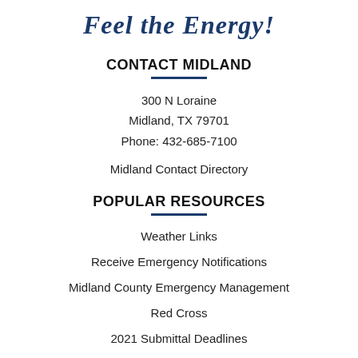Feel the Energy!
CONTACT MIDLAND
300 N Loraine
Midland, TX 79701
Phone: 432-685-7100
Midland Contact Directory
POPULAR RESOURCES
Weather Links
Receive Emergency Notifications
Midland County Emergency Management
Red Cross
2021 Submittal Deadlines